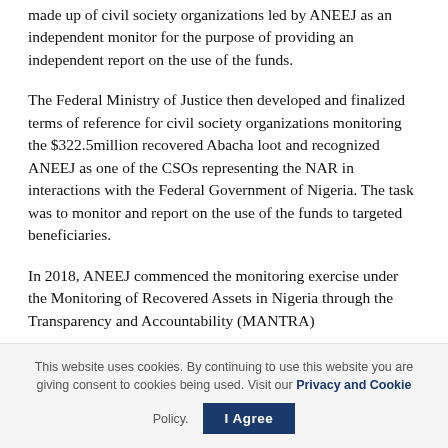made up of civil society organizations led by ANEEJ as an independent monitor for the purpose of providing an independent report on the use of the funds.
The Federal Ministry of Justice then developed and finalized terms of reference for civil society organizations monitoring the $322.5million recovered Abacha loot and recognized ANEEJ as one of the CSOs representing the NAR in interactions with the Federal Government of Nigeria. The task was to monitor and report on the use of the funds to targeted beneficiaries.
In 2018, ANEEJ commenced the monitoring exercise under the Monitoring of Recovered Assets in Nigeria through the Transparency and Accountability (MANTRA)
This website uses cookies. By continuing to use this website you are giving consent to cookies being used. Visit our Privacy and Cookie Policy.  I Agree